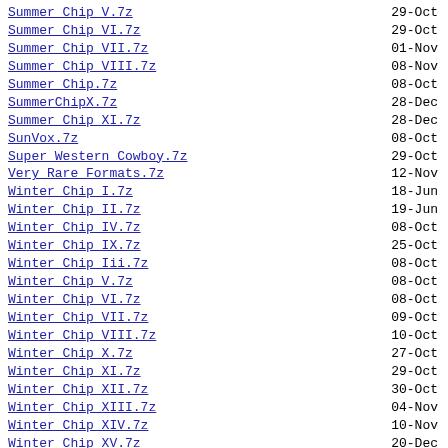Summer Chip V.7z | 29-Oct
Summer Chip VI.7z | 29-Oct
Summer Chip VII.7z | 01-Nov
Summer Chip VIII.7z | 08-Nov
Summer Chip.7z | 08-Oct
SummerChipX.7z | 28-Dec
Summer Chip XI.7z | 28-Dec
SunVox.7z | 08-Oct
Super Western Cowboy.7z | 29-Oct
Very Rare Formats.7z | 12-Nov
Winter Chip I.7z | 18-Jun
Winter Chip II.7z | 19-Jun
Winter Chip IV.7z | 08-Oct
Winter Chip IX.7z | 25-Oct
Winter Chip Iii.7z | 08-Oct
Winter Chip V.7z | 08-Oct
Winter Chip VI.7z | 08-Oct
Winter Chip VII.7z | 09-Oct
Winter Chip VIII.7z | 10-Oct
Winter Chip X.7z | 27-Oct
Winter Chip XI.7z | 29-Oct
Winter Chip XII.7z | 30-Oct
Winter Chip XIII.7z | 04-Nov
Winter Chip XIV.7z | 10-Nov
Winter Chip XV.7z | 20-Dec
Winter chip 17.7z | 06-Apr
ZX Spectrum Beeper Speaker.7z | 08-Oct
s3xm0dit gauntlet.7z | 15-Nov